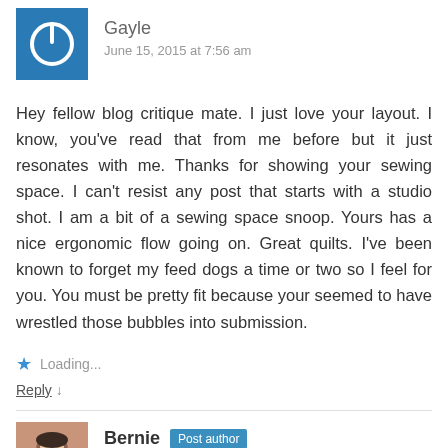[Figure (illustration): Blue square avatar with white power button icon for commenter Gayle]
Gayle
June 15, 2015 at 7:56 am
Hey fellow blog critique mate. I just love your layout. I know, you've read that from me before but it just resonates with me. Thanks for showing your sewing space. I can't resist any post that starts with a studio shot. I am a bit of a sewing space snoop. Yours has a nice ergonomic flow going on. Great quilts. I've been known to forget my feed dogs a time or two so I feel for you. You must be pretty fit because your seemed to have wrestled those bubbles into submission.
★ Loading...
Reply ↓
[Figure (photo): Photo avatar of Bernie, a person with short dark hair wearing a red top]
Bernie Post author
June 15, 2015 at 8:13 am